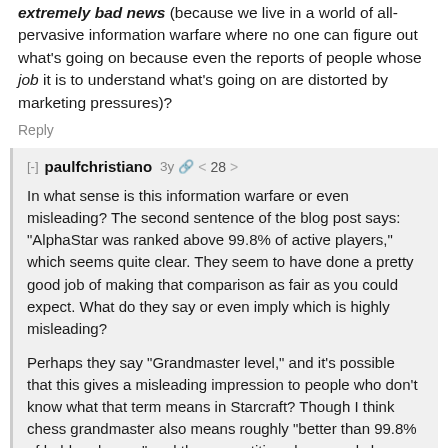extremely bad news (because we live in a world of all-pervasive information warfare where no one can figure out what's going on because even the reports of people whose job it is to understand what's going on are distorted by marketing pressures)?
Reply
[-] paulfchristiano 3y 28
In what sense is this information warfare or even misleading? The second sentence of the blog post says: "AlphaStar was ranked above 99.8% of active players," which seems quite clear. They seem to have done a pretty good job of making that comparison as fair as you could expect. What do they say or even imply which is highly misleading?
Perhaps they say "Grandmaster level," and it's possible that this gives a misleading impression to people who don't know what that term means in Starcraft? Though I think chess grandmaster also means roughly "better than 99.8% of ladder players," and the competitive player pools have similar size. So while it might be misleading in the sense that Chess has a larger player pool a smaller fraction of